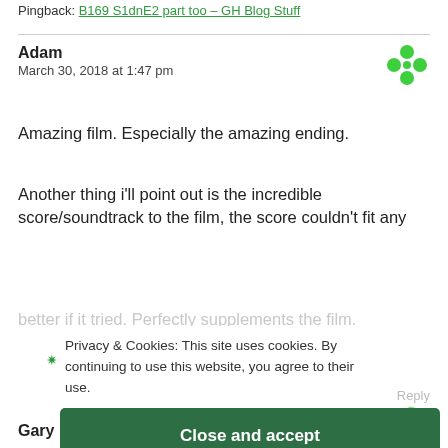Pingback: B169 S1dnE2 part too – GH Blog Stuff
Adam
March 30, 2018 at 1:47 pm
Amazing film. Especially the amazing ending.
Another thing i'll point out is the incredible score/soundtrack to the film, the score couldn't fit any better if it tried. Perfectly supplements the film.
Privacy & Cookies: This site uses cookies. By continuing to use this website, you agree to their use.
To find out more, including how to control cookies, see here:
Cookie Policy
Reply
Close and accept
Gary